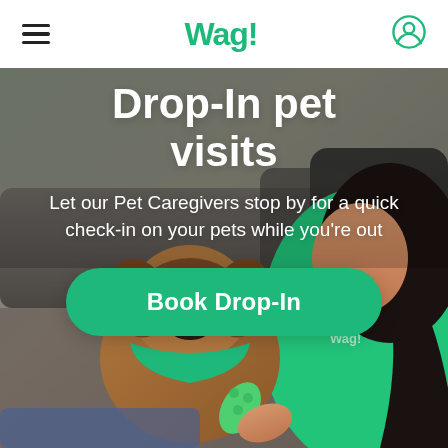Wag!
Drop-In pet visits
Let our Pet Caregivers stop by for a quick check-in on your pets while you're out
[Figure (photo): A woman in a green Wag! t-shirt sitting on a couch holding a French Bulldog wearing a green bandana, while offering the dog a green chew toy]
Book Drop-In